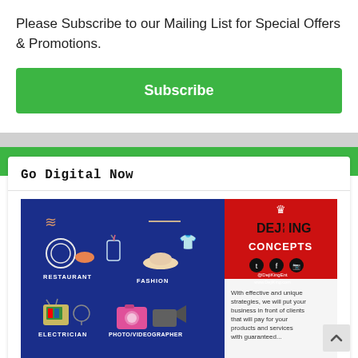Please Subscribe to our Mailing List for Special Offers & Promotions.
Subscribe
Go Digital Now
[Figure (infographic): Blue infographic from DejiKing Concepts showing digital marketing categories: Restaurant (plate, bread icons), Fashion (macrame wall hanging, t-shirt, hat icons), Electrician (retro TV, light bulb icons), Photo/Videographer (camera, video camera icons). Right side shows DejiKing Concepts logo on red background with social media icons and text: 'With effective and unique strategies, we will put your business in front of clients that will pay for your products and services']